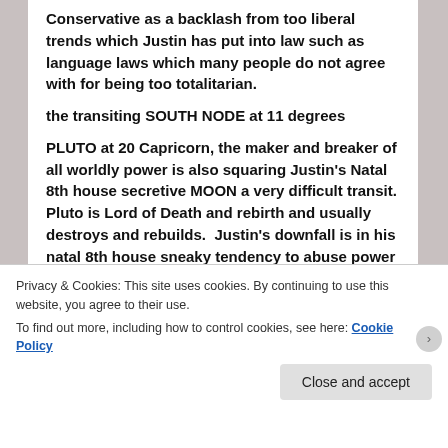Conservative as a backlash from too liberal trends which Justin has put into law such as language laws which many people do not agree with for being too totalitarian.
the transiting SOUTH NODE at 11 degrees
PLUTO at 20 Capricorn, the maker and breaker of all worldly power is also squaring Justin's Natal 8th house secretive MOON a very difficult transit. Pluto is Lord of Death and rebirth and usually destroys and rebuilds. Justin's downfall is in his natal 8th house sneaky tendency to abuse power and be emotionally manipulated. The Moon symbolizes the public and women. Who may turn against him for what happened
Privacy & Cookies: This site uses cookies. By continuing to use this website, you agree to their use.
To find out more, including how to control cookies, see here: Cookie Policy